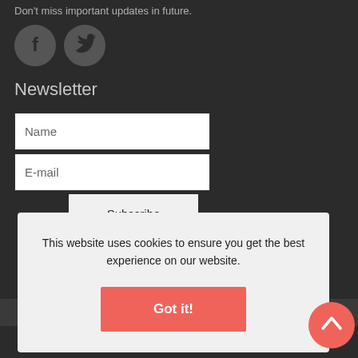Don't miss important updates in future.
[Figure (illustration): Facebook and Twitter social media icons (circular grey buttons with white logos)]
Newsletter
[Figure (screenshot): Newsletter signup form with Name and E-mail input fields and a Subscribe button]
This website uses cookies to ensure you get the best experience on our website.
[Figure (illustration): Got it! button (red/coral colored) inside a cookie consent banner]
Web Design
No PayPal Account Needed
[Figure (illustration): Back to top button (circular coral/red) with upward chevron arrow]